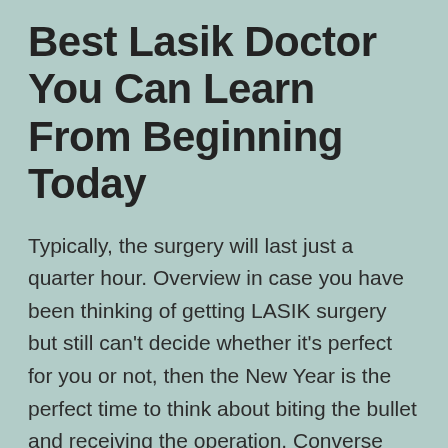Best Lasik Doctor You Can Learn From Beginning Today
Typically, the surgery will last just a quarter hour. Overview in case you have been thinking of getting LASIK surgery but still can't decide whether it's perfect for you or not, then the New Year is the perfect time to think about biting the bullet and receiving the operation. Converse with your physician and together you may ascertain if Custom Lasik surgery is the most effective for you. Lasik surgery is a handy